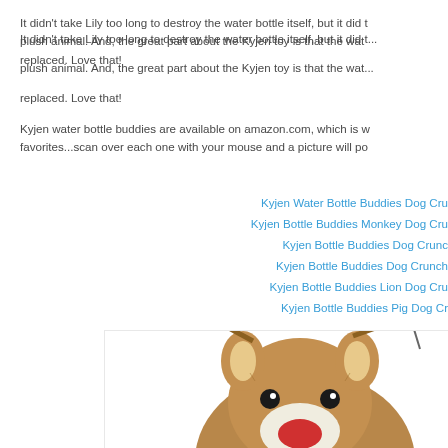It didn't take Lily too long to destroy the water bottle itself, but it did take her a while to get it out of the plush animal.  And, the great part about the Kyjen toy is that the water bottle can easily be replaced.  Love that!
Kyjen water bottle buddies are available on amazon.com, which is where I found my favorites...scan over each one with your mouse and a picture will pop up!
Kyjen Water Bottle Buddies Dog Cru...
Kyjen Bottle Buddies Monkey Dog Cru...
Kyjen Bottle Buddies Dog Crunc...
Kyjen Bottle Buddies Dog Crunch...
Kyjen Bottle Buddies Lion Dog Cru...
Kyjen Bottle Buddies Pig Dog Cr...
[Figure (photo): A plush reindeer dog toy (Kyjen Bottle Buddies) with brown fur, antlers, big black eyes, and a red nose on a white snout, photographed from above on a white background.]